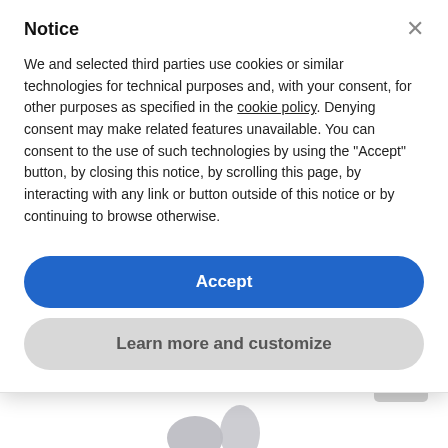Shark NV803UK DuoClean Vacuum Cleaner
Notice
We and selected third parties use cookies or similar technologies for technical purposes and, with your consent, for other purposes as specified in the cookie policy. Denying consent may make related features unavailable. You can consent to the use of such technologies by using the "Accept" button, by closing this notice, by scrolling this page, by interacting with any link or button outside of this notice or by continuing to browse otherwise.
Accept
Learn more and customize